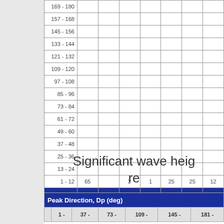|  |  |  |  |  |  |  |  |
| --- | --- | --- | --- | --- | --- | --- | --- |
| 169 - 180 |  |  |  |  |  |  |  |
| 157 - 168 |  |  |  |  |  |  |  |
| 145 - 156 |  |  |  |  |  |  |  |
| 133 - 144 |  |  |  |  |  |  |  |
| 121 - 132 |  |  |  |  |  |  |  |
| 109 - 120 |  |  |  |  |  |  |  |
| 97 - 108 |  |  |  |  |  |  |  |
| 85 - 96 |  |  |  |  |  |  |  |
| 73 - 84 |  |  |  |  |  |  |  |
| 61 - 72 |  |  |  |  |  |  |  |
| 49 - 60 |  |  |  |  |  |  |  |
| 37 - 48 |  |  |  |  |  |  |  |
| 25 - 36 |  |  |  |  |  |  |  |
| 13 - 24 |  |  |  |  |  |  |  |
| 1 - 12 | 65 |  | 2 | 1 | 25 | 25 | 12 |
| 22+ | 19 | 17 | 15 | 13 | 11 | 9 | 75 |
Significant wave heig re
| Peak Direction, Dp (deg) |
| --- |
|  | 1 - | 37 - | 73 - | 109 - | 145 - | 181 - |